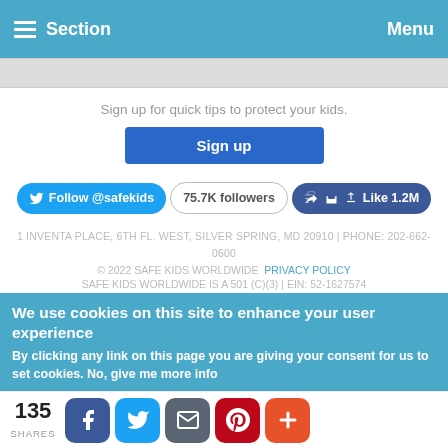Section  Menu
Sign up for quick tips to protect your kids.
Sign up
Follow @safekids  75.7K followers  Like 1.2M
1 INVENTA PLACE, 6TH FL. WEST, SILVER SPRING, MD 20910 | PHONE: 202-662-0600
© 2022 SAFE KIDS WORLDWIDE  PRIVACY POLICY
SAFE KIDS WORLDWIDE IS A 501 (C)(3) | EIN: 52-1627574
We use cookies on this site to enhance your user experience
By clicking any link on this page you are giving your consent for us to set cookies. No, give me more info
135 SHARES